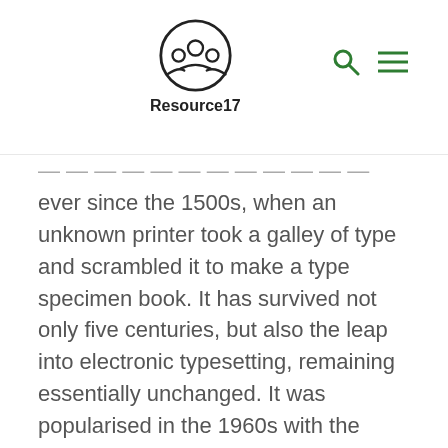Resource17
ever since the 1500s, when an unknown printer took a galley of type and scrambled it to make a type specimen book. It has survived not only five centuries, but also the leap into electronic typesetting, remaining essentially unchanged. It was popularised in the 1960s with the release of Letraset sheets containing Lorem Ipsum passages, and more recently with desktop publishing software like Aldus PageMaker including versions of